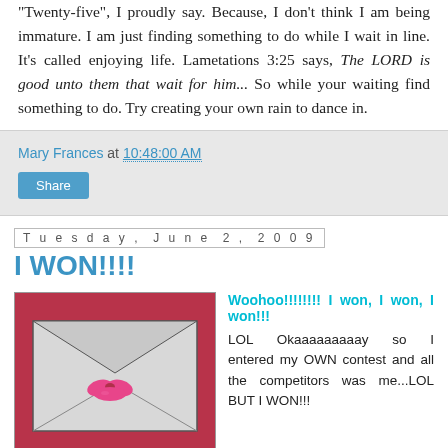"Twenty-five", I proudly say. Because, I don't think I am being immature. I am just finding something to do while I wait in line. It's called enjoying life. Lametations 3:25 says, The LORD is good unto them that wait for him... So while your waiting find something to do. Try creating your own rain to dance in.
Mary Frances at 10:48:00 AM
Share
Tuesday, June 2, 2009
I WON!!!!
[Figure (photo): Envelope with pink lipstick kiss mark on it, placed on a red/pink background]
Woohoo!!!!!!!! I won, I won, I won!!! LOL Okaaaaaaaaay so I entered my OWN contest and all the competitors was me...LOL BUT I WON!!!